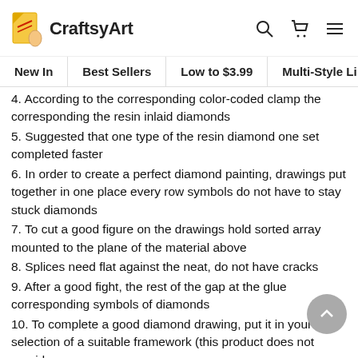CraftsyArt — navigation header with search, cart, and menu icons
New In | Best Sellers | Low to $3.99 | Multi-Style Li…
4. According to the corresponding color-coded clamp the corresponding the resin inlaid diamonds
5. Suggested that one type of the resin diamond one set completed faster
6. In order to create a perfect diamond painting, drawings put together in one place every row symbols do not have to stay stuck diamonds
7. To cut a good figure on the drawings hold sorted array mounted to the plane of the material above
8. Splices need flat against the neat, do not have cracks
9. After a good fight, the rest of the gap at the glue corresponding symbols of diamonds
10. To complete a good diamond drawing, put it in your selection of a suitable framework (this product does not provide a